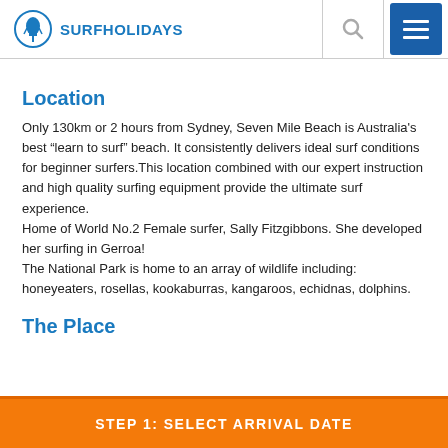SURFHOLIDAYS
Location
Only 130km or 2 hours from Sydney, Seven Mile Beach is Australia’s best “learn to surf” beach. It consistently delivers ideal surf conditions for beginner surfers.This location combined with our expert instruction and high quality surfing equipment provide the ultimate surf experience.
Home of World No.2 Female surfer, Sally Fitzgibbons. She developed her surfing in Gerroa!
The National Park is home to an array of wildlife including: honeyeaters, rosellas, kookaburras, kangaroos, echidnas, dolphins.
The Place
STEP 1: SELECT ARRIVAL DATE